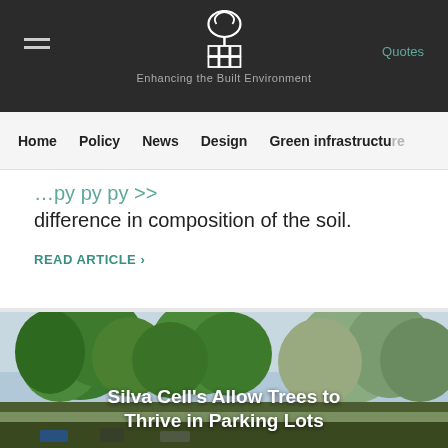Enhancing the Built Environment
Quotes
Home  Policy  News  Design  Green infrastructure
difference in composition of the soil.
READ ARTICLE >
[Figure (photo): Outdoor parking lot surrounded by large lush green trees including pine and other species, with parked cars visible at the bottom.]
Silva Cell's Allow Trees to Thrive in Parking Lots